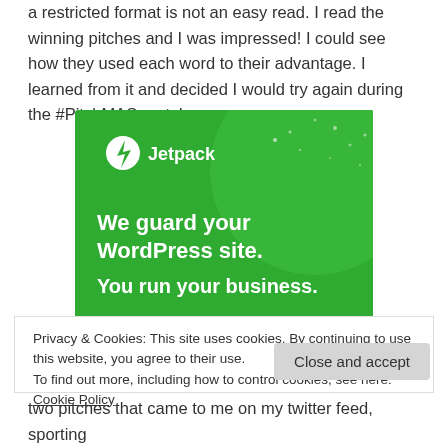a restricted format is not an easy read. I read the winning pitches and I was impressed! I could see how they used each word to their advantage. I learned from it and decided I would try again during the #PitchMAS party!
[Figure (illustration): Jetpack advertisement banner with green background showing the Jetpack logo and text: 'We guard your WordPress site. You run your business.']
Privacy & Cookies: This site uses cookies. By continuing to use this website, you agree to their use.
To find out more, including how to control cookies, see here: Cookie Policy
two pitches that came to me on my twitter feed, sporting